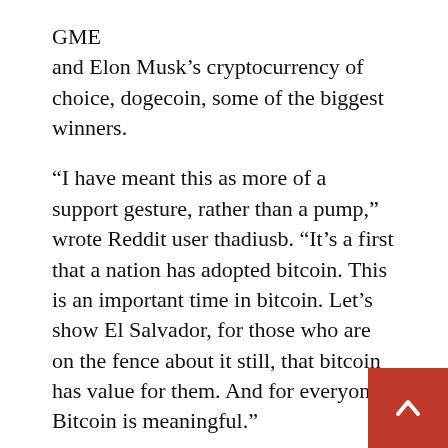GME
and Elon Musk’s cryptocurrency of choice, dogecoin, some of the biggest winners.
“I have meant this as more of a support gesture, rather than a pump,” wrote Reddit user thadiusb. “It’s a first that a nation has adopted bitcoin. This is an important time in bitcoin. Let’s show El Salvador, for those who are on the fence about it still, that bitcoin has value for them. And for everyone. Bitcoin is meaningful.”
In June, it was revealed that every adult citizen in El Salvador will receive $30 worth of bitcoin when they downloaded and registered for the government’s cryptocurrency app. The plan to formally adopt bitcoin as legal tender was reve… by El Salvador’s president Nayib Bukele at a bitcoin